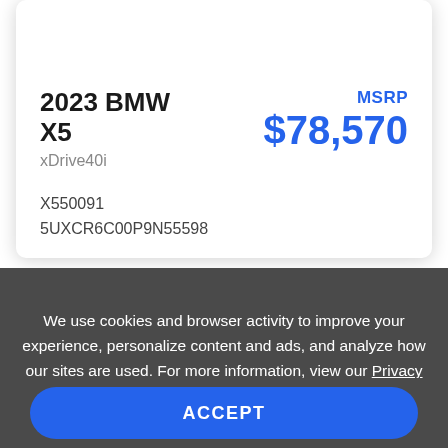2023 BMW X5
xDrive40i
MSRP $78,570
X550091
5UXCR6C00P9N55598
We use cookies and browser activity to improve your experience, personalize content and ads, and analyze how our sites are used. For more information, view our Privacy Policy.
ACCEPT